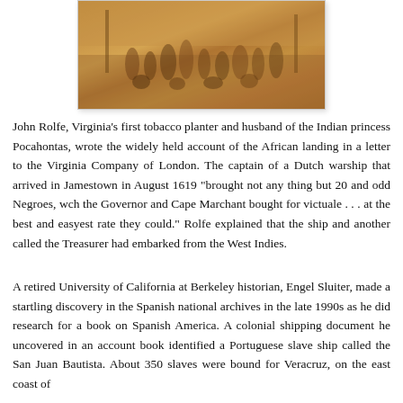[Figure (illustration): A painting depicting a historical scene with many figures, appearing to show Native Americans and colonists or traders in an outdoor setting with warm earthy tones.]
John Rolfe, Virginia's first tobacco planter and husband of the Indian princess Pocahontas, wrote the widely held account of the African landing in a letter to the Virginia Company of London. The captain of a Dutch warship that arrived in Jamestown in August 1619 "brought not any thing but 20 and odd Negroes, wch the Governor and Cape Marchant bought for victuale . . . at the best and easyest rate they could." Rolfe explained that the ship and another called the Treasurer had embarked from the West Indies.
A retired University of California at Berkeley historian, Engel Sluiter, made a startling discovery in the Spanish national archives in the late 1990s as he did research for a book on Spanish America. A colonial shipping document he uncovered in an account book identified a Portuguese slave ship called the San Juan Bautista. About 350 slaves were bound for Veracruz, on the east coast of